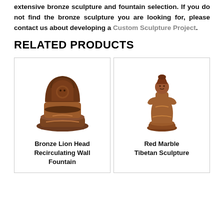extensive bronze sculpture and fountain selection. If you do not find the bronze sculpture you are looking for, please contact us about developing a Custom Sculpture Project.
RELATED PRODUCTS
[Figure (photo): Bronze Lion Head Recirculating Wall Fountain - a decorative wall-mounted bronze fountain with ornate lion head detail and basin]
Bronze Lion Head Recirculating Wall Fountain
[Figure (photo): Red Marble Tibetan Sculpture - a copper/bronze colored figurine of a Tibetan deity standing on a base]
Red Marble Tibetan Sculpture